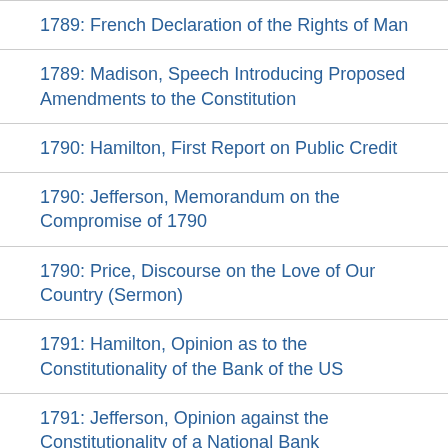1789: French Declaration of the Rights of Man
1789: Madison, Speech Introducing Proposed Amendments to the Constitution
1790: Hamilton, First Report on Public Credit
1790: Jefferson, Memorandum on the Compromise of 1790
1790: Price, Discourse on the Love of Our Country (Sermon)
1791: Hamilton, Opinion as to the Constitutionality of the Bank of the US
1791: Jefferson, Opinion against the Constitutionality of a National Bank